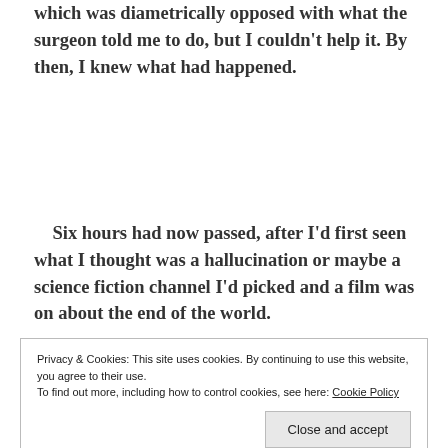which was diametrically opposed with what the surgeon told me to do, but I couldn't help it. By then, I knew what had happened.
Six hours had now passed, after I'd first seen what I thought was a hallucination or maybe a science fiction channel I'd picked and a film was on about the end of the world.
Privacy & Cookies: This site uses cookies. By continuing to use this website, you agree to their use.
To find out more, including how to control cookies, see here: Cookie Policy
[Close and accept]